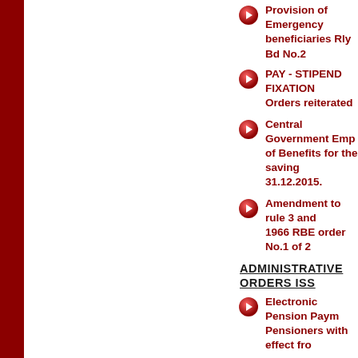Provision of Emergency beneficiaries Rly Bd No.2
PAY - STIPEND FIXATION Orders reiterated
Central Government Emp of Benefits for the saving 31.12.2015.
Amendment to rule 3 and 1966 RBE order No.1 of 2
ADMINISTRATIVE ORDERS ISS
Electronic Pension Paym Pensioners with effect fro
Amendment to rule 3 and 1966
Investment guidelines fo PFRDA Circular
MOF Orders on Payment employees – Revised Ra
Administrative Orders - 2
Administrative Orders - 2
Administrative Orders - 2